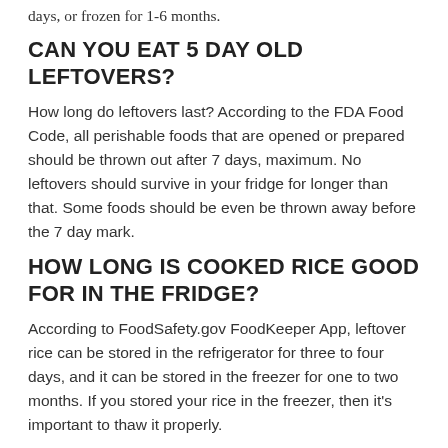days, or frozen for 1-6 months.
CAN YOU EAT 5 DAY OLD LEFTOVERS?
How long do leftovers last? According to the FDA Food Code, all perishable foods that are opened or prepared should be thrown out after 7 days, maximum. No leftovers should survive in your fridge for longer than that. Some foods should be even be thrown away before the 7 day mark.
HOW LONG IS COOKED RICE GOOD FOR IN THE FRIDGE?
According to FoodSafety.gov FoodKeeper App, leftover rice can be stored in the refrigerator for three to four days, and it can be stored in the freezer for one to two months. If you stored your rice in the freezer, then it's important to thaw it properly.
WHAT HAPPENS IF YOU LEAVE GROUND BEEF IN THE FRIDGE?
It is unsafe and should be thrown out. Raw ground beef only keeps in the refrigerator for 1-2 days. Ignoring storage time, regarding color, brown meat is as safe to eat as red meat.